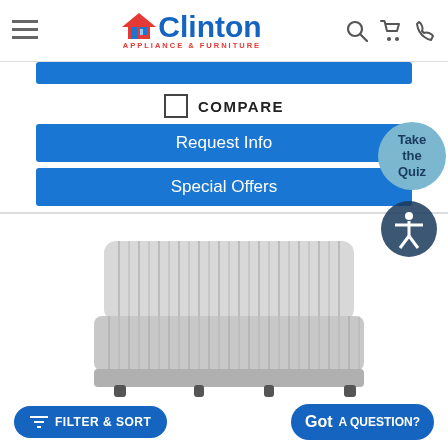Clinton Appliance & Furniture
COMPARE
Request Info
Special Offers
[Figure (photo): A light gray striped armless sofa/loveseat with vertical pinstripes on white background]
FILTER & SORT
Got A QUESTION?